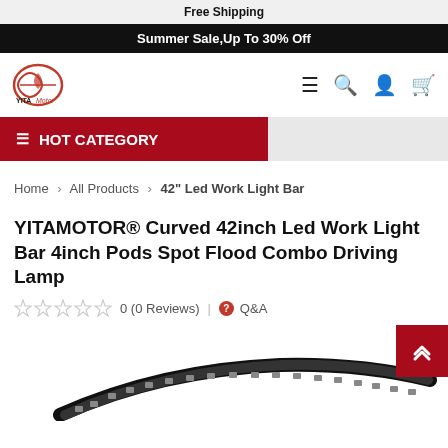Free Shipping
Summer Sale,Up To 30% Off
[Figure (logo): YITA Motor logo with red circular icon and brand name]
≡ Q A ♥
≡ HOT CATEGORY
Home › All Products › 42" Led Work Light Bar
YITAMOTOR® Curved 42inch Led Work Light Bar 4inch Pods Spot Flood Combo Driving Lamp
0 (0 Reviews) | Q&A
[Figure (photo): Curved LED light bar product photo, black housing with multiple LED pods]